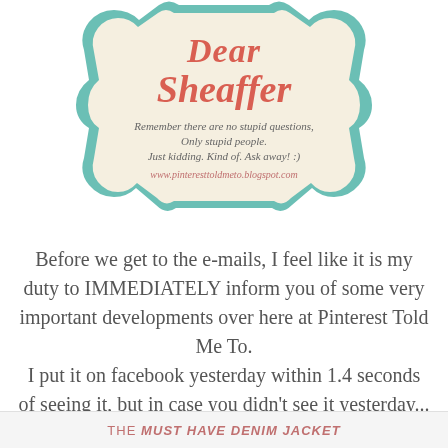[Figure (illustration): Decorative badge/label shape with teal border and cream background. Contains red handwritten-style title 'Dear Sheaffer' and handwritten text: 'Remember there are no stupid questions, Only stupid people. Just kidding. Kind of. Ask away! :)' and URL 'www.pinteresttoldmeto.blogspot.com']
Before we get to the e-mails, I feel like it is my duty to IMMEDIATELY inform you of some very important developments over here at Pinterest Told Me To. I put it on facebook yesterday within 1.4 seconds of seeing it, but in case you didn't see it yesterday...
THE MUST HAVE DENIM JACKET